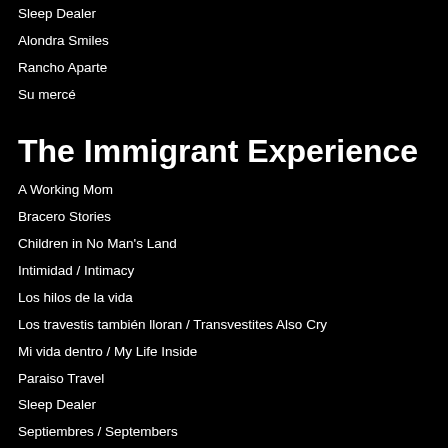Sleep Dealer
Alondra Smiles
Rancho Aparte
Su mercé
The Immigrant Experience
A Working Mom
Bracero Stories
Children in No Man's Land
Intimidad / Intimacy
Los hilos de la vida
Los travestis también lloran / Transvestites Also Cry
Mi vida dentro / My Life Inside
Paraiso Travel
Sleep Dealer
Septiembres / Septembers
The Golden Age
Politic & Utopias
13 Pueblos en defensa del agua, el aire y la tierra / 13 Peoples Defending Water, Air, and L
Against the Grain: An Artist's Survival Guide to Peru
Bracero Stories
Calle Santa Fe
Chevolution